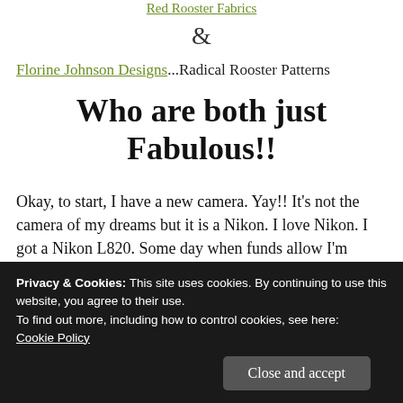Red Rooster Fabrics
&
Florine Johnson Designs...Radical Rooster Patterns
Who are both just Fabulous!!
Okay, to start, I have a new camera. Yay!! It's not the camera of my dreams but it is a Nikon. I love Nikon. I got a Nikon L820. Some day when funds allow I'm hoping for a really great Nikon Digital SLR (that would
Privacy & Cookies: This site uses cookies. By continuing to use this website, you agree to their use.
To find out more, including how to control cookies, see here: Cookie Policy
Close and accept